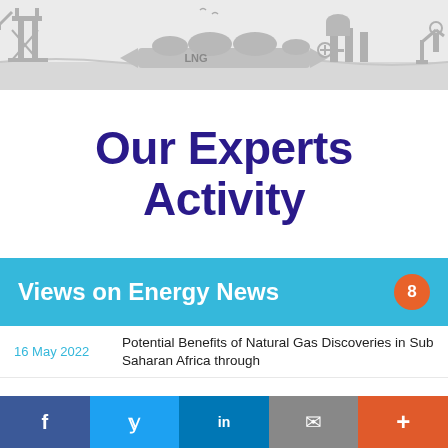[Figure (illustration): Energy industry header illustration showing oil platform, LNG tanker ship, industrial plant with towers, and oil pump jack in grey silhouette style on light grey background]
Our Experts Activity
Views on Energy News
16 May 2022   Potential Benefits of Natural Gas Discoveries in Sub Saharan Africa through
f  y  in  mail  +